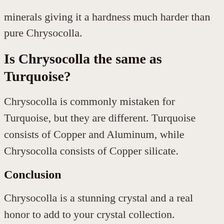minerals giving it a hardness much harder than pure Chrysocolla.
Is Chrysocolla the same as Turquoise?
Chrysocolla is commonly mistaken for Turquoise, but they are different. Turquoise consists of Copper and Aluminum, while Chrysocolla consists of Copper silicate.
Conclusion
Chrysocolla is a stunning crystal and a real honor to add to your crystal collection.
Thank you for letting me show three simple but very